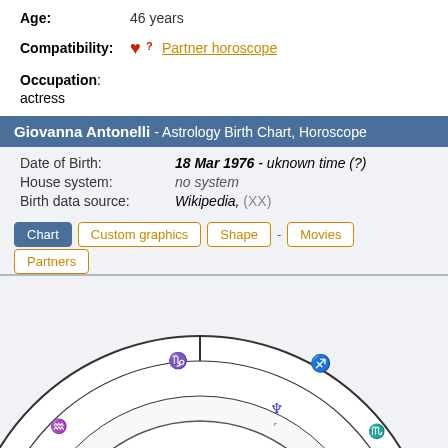Age: 46 years
Compatibility: ❤️ Partner horoscope
Occupation: actress
Giovanna Antonelli - Astrology Birth Chart, Horoscope
Date of Birth: 18 Mar 1976 - uknown time (?)
House system: no system
Birth data source: Wikipedia, (XX)
Tabs: Chart | Custom graphics | Shape | - | Movies | Partners
[Figure (other): Astrology birth chart wheel showing zodiac signs, planetary symbols (Neptune, Moon, Mercury, Venus, Sun, Uranus), and aspect lines (blue, red, green) in the lower half of the wheel. Zodiac signs visible include Capricorn, Sagittarius, Scorpio, Libra, Pisces, Aquarius.]